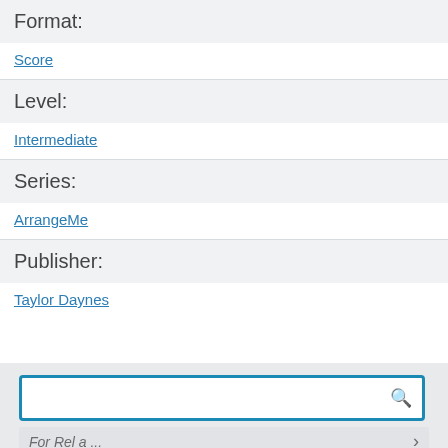Format:
Score
Level:
Intermediate
Series:
ArrangeMe
Publisher:
Taylor Daynes
[Figure (screenshot): Search box with magnifying glass icon and a partially visible row below with an arrow]